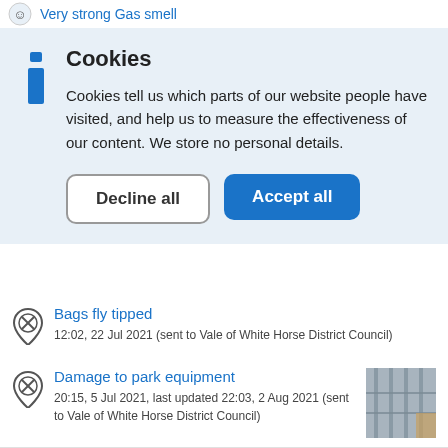Very strong Gas smell
Cookies
Cookies tell us which parts of our website people have visited, and help us to measure the effectiveness of our content. We store no personal details.
Decline all
Accept all
Bags fly tipped
12:02, 22 Jul 2021 (sent to Vale of White Horse District Council)
Damage to park equipment
20:15, 5 Jul 2021, last updated 22:03, 2 Aug 2021 (sent to Vale of White Horse District Council)